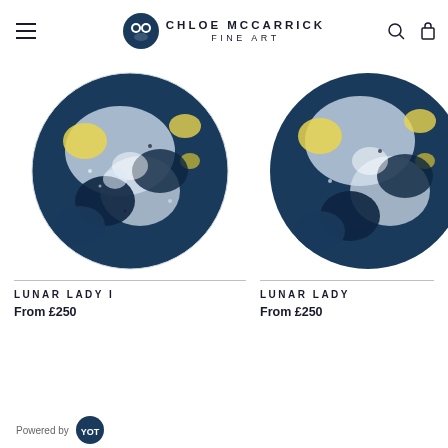CHLOE MCCARRICK FINE ART
[Figure (photo): Circular cyanotype artwork showing abstract blue and white forms with yellow accents - Lunar Lady I]
LUNAR LADY I
From £250
[Figure (photo): Partial circular cyanotype artwork showing similar blue, white and yellow abstract forms - Lunar Lady (partial, cropped at right edge)]
LUNAR LADY
From £250
Powered by YOT